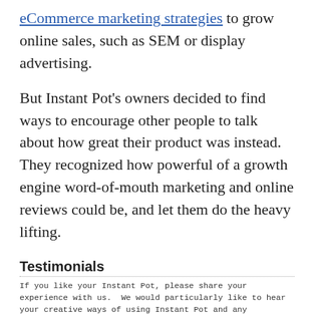eCommerce marketing strategies to grow online sales, such as SEM or display advertising.
But Instant Pot's owners decided to find ways to encourage other people to talk about how great their product was instead. They recognized how powerful of a growth engine word-of-mouth marketing and online reviews could be, and let them do the heavy lifting.
Testimonials
If you like your Instant Pot, please share your experience with us. We would particularly like to hear your creative ways of using Instant Pot and any suggestions for improvement. We will try to improve the product in future models. There's nothing more satisfying and motivating than hearing from you.
By late 2010, the company had already created a page on Facebook, and was soliciting testimonials, recipes...